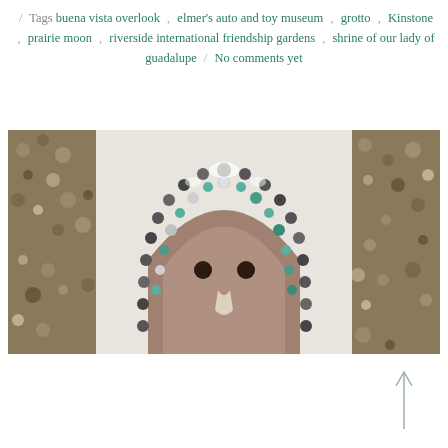Tags buena vista overlook , elmer's auto and toy museum , grotto , Kinstone , prairie moon , riverside international friendship gardens , shrine of our lady of guadalupe / No comments yet
[Figure (photo): Close-up photo of a decorative folk art sculpture featuring a face-like form embedded with stones, shells, and colorful gems including teal/turquoise accents, surrounded by mosaic pebble work, against a pale background.]